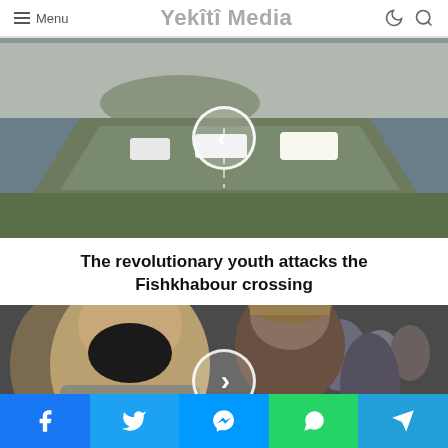Menu | Yekîtî Media
[Figure (photo): Aerial view of vehicles crossing a pontoon/floating bridge over a river, with surrounding landscape. A circular back-navigation arrow button is overlaid in the center.]
The revolutionary youth attacks the Fishkhabour crossing
[Figure (photo): Close-up of a bearded man in a crowd, with other people visible in the background. A circular forward-navigation arrow button is overlaid in the center.]
Facebook | Twitter | Messenger | WhatsApp | Telegram